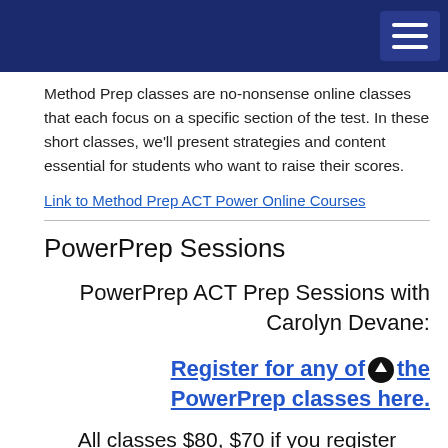Navigation bar with hamburger menu
Method Prep classes are no-nonsense online classes that each focus on a specific section of the test. In these short classes, we'll present strategies and content essential for students who want to raise their scores.
Link to Method Prep ACT Power Online Courses
PowerPrep Sessions
PowerPrep ACT Prep Sessions with Carolyn Devane:
Register for any of the PowerPrep classes here.
All classes $80, $70 if you register